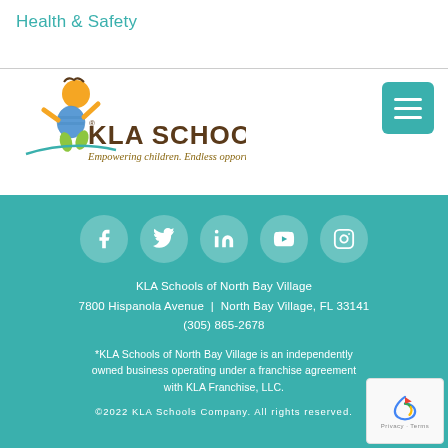Health & Safety
[Figure (logo): KLA Schools logo with cartoon child figure, text 'KLA SCHOOLS' and tagline 'Empowering children. Endless opportunities.']
[Figure (infographic): Social media icons: Facebook, Twitter, LinkedIn, YouTube, Instagram - white icons in semi-transparent circles on teal background]
KLA Schools of North Bay Village
7800 Hispanola Avenue  |  North Bay Village, FL 33141
(305) 865-2678
*KLA Schools of North Bay Village is an independently owned business operating under a franchise agreement with KLA Franchise, LLC.
©2022 KLA Schools Company. All rights reserved.